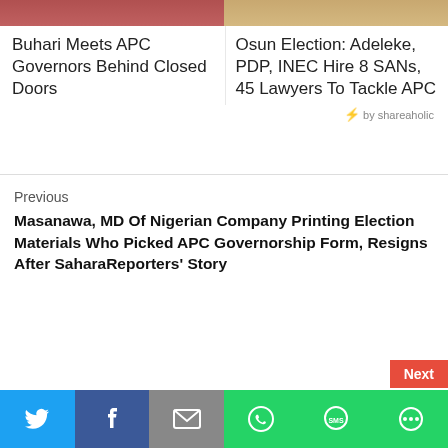[Figure (photo): Two cropped photo strips at top — left shows person in red, right shows person with skin tones]
Buhari Meets APC Governors Behind Closed Doors
Osun Election: Adeleke, PDP, INEC Hire 8 SANs, 45 Lawyers To Tackle APC
⚡ by shareaholic
Previous
Masanawa, MD Of Nigerian Company Printing Election Materials Who Picked APC Governorship Form, Resigns After SaharaReporters' Story
Next
[Figure (other): Social sharing bar with Twitter, Facebook, Email, WhatsApp, SMS, More buttons]